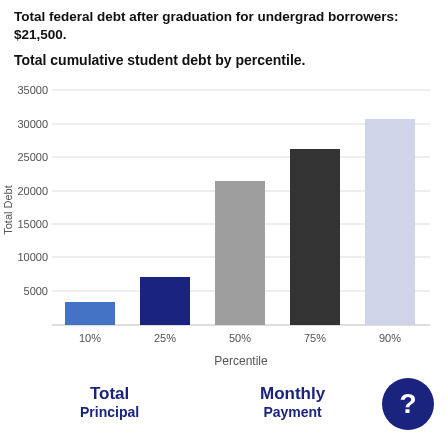Total federal debt after graduation for undergrad borrowers: $21,500.
Total cumulative student debt by percentile.
[Figure (bar-chart): Total cumulative student debt by percentile]
Total
Principal
Monthly
Payment